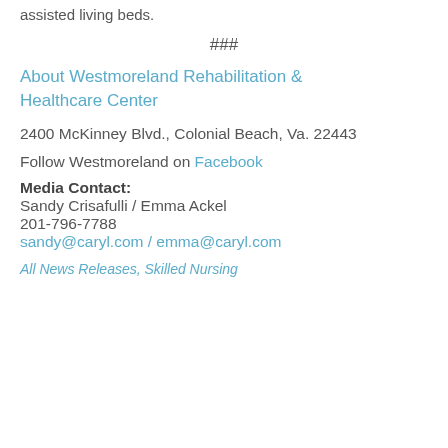assisted living beds.
###
About Westmoreland Rehabilitation & Healthcare Center
2400 McKinney Blvd., Colonial Beach, Va. 22443
Follow Westmoreland on Facebook
Media Contact:
Sandy Crisafulli / Emma Ackel
201-796-7788
sandy@caryl.com / emma@caryl.com
All News Releases, Skilled Nursing